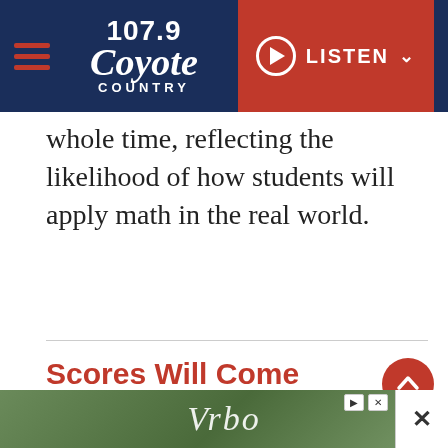107.9 Coyote Country — LISTEN
whole time, reflecting the likelihood of how students will apply math in the real world.
Scores Will Come Back Faster
Scores used to take weeks to come back, and that could make using them on college
[Figure (screenshot): Vrbo advertisement banner at bottom of page]